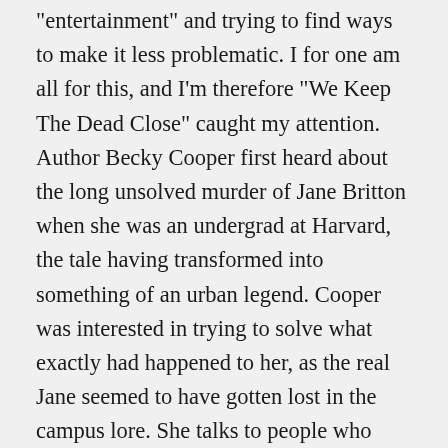“entertainment” and trying to find ways to make it less problematic. I for one am all for this, and I’m therefore “We Keep The Dead Close” caught my attention. Author Becky Cooper first heard about the long unsolved murder of Jane Britton when she was an undergrad at Harvard, the tale having transformed into something of an urban legend. Cooper was interested in trying to solve what exactly had happened to her, as the real Jane seemed to have gotten lost in the campus lore. She talks to people who knew Jane, family members, classmates, and even the man who was rumored to have been her killer. Going beyond the usual whodunnit format, “We Keep the Dead Close” will no doubt be more than what I usually expect from the genre